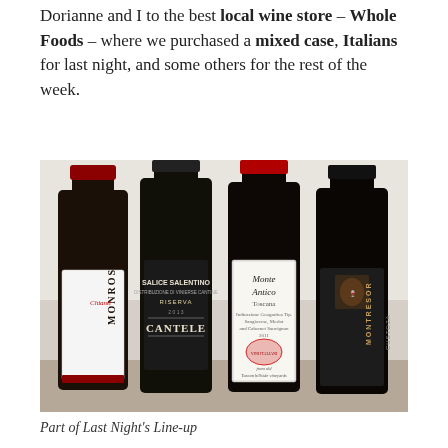Dorianne and I to the best local wine store – Whole Foods – where we purchased a mixed case, Italians for last night, and some others for the rest of the week.
[Figure (photo): Four dark wine bottles standing side by side with visible labels: Monrosso Chianti, Salice Salentino Riserva by Cantele, Monte Antico Toscana, and a fourth bottle with a dark label (Montresor). Photo taken in a store setting with white/marble background.]
Part of Last Night's Line-up